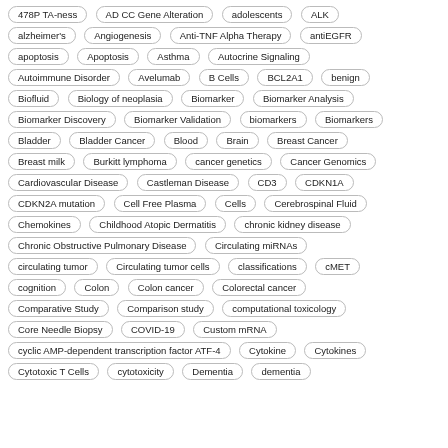[Figure (other): Tag cloud of medical/biomedical terms displayed as rounded pill-shaped labels]